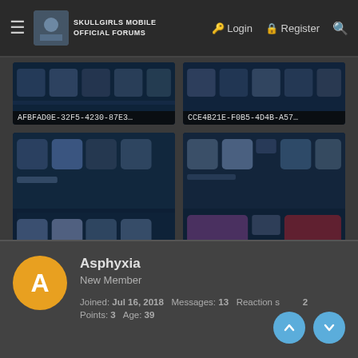Skullgirls Mobile Official Forums — Login | Register
[Figure (screenshot): Game screenshot labeled AFBFAD0E-32F5-4230-87E3...]
[Figure (screenshot): Game screenshot labeled CCE4B21E-F0B5-4D4B-A57...]
[Figure (screenshot): Game screenshot labeled FC8B9086-8D7C-476D-B2E...]
[Figure (screenshot): Game screenshot labeled E96ECF07-38BC-45A7-AB0...]
Asphyxia
New Member
Joined: Jul 16, 2018  Messages: 13  Reaction score: 2
Points: 3  Age: 39